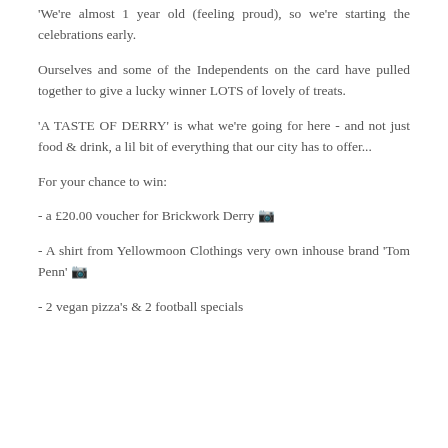'We're almost 1 year old (feeling proud), so we're starting the celebrations early.
Ourselves and some of the Independents on the card have pulled together to give a lucky winner LOTS of lovely of treats.
'A TASTE OF DERRY' is what we're going for here - and not just food & drink, a lil bit of everything that our city has to offer...
For your chance to win:
- a £20.00 voucher for Brickwork Derry 🎁
- A shirt from Yellowmoon Clothings very own inhouse brand 'Tom Penn' 🎁
- 2 vegan pizza's & 2 football specials from...